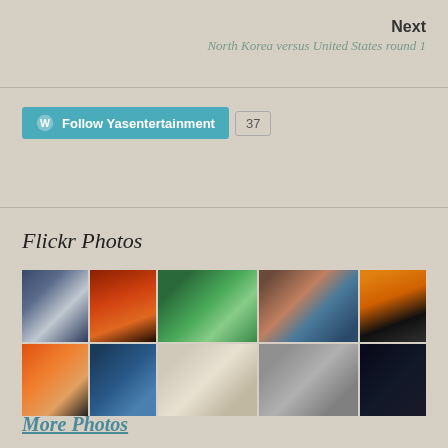Next
North Korea versus United States round 1
[Figure (other): Follow Yasentertainment WordPress follow button with count badge showing 37]
Flickr Photos
[Figure (photo): Grid of 10 Flickr photos: lightning storm, red sunset, waterfall/forest, stone bridge reflection, silhouettes at sunset, orange sunset over water, pier/dock blue sky, white dog in flowers, dandelion grayscale, white flame grayscale]
More Photos